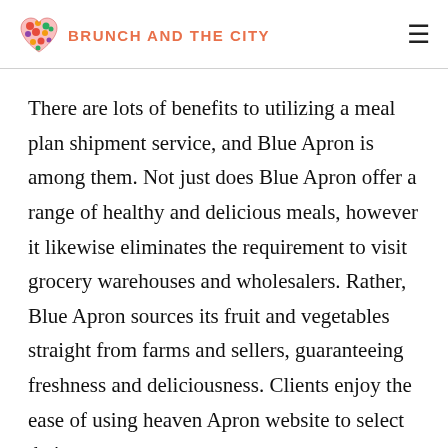BRUNCH AND THE CITY
There are lots of benefits to utilizing a meal plan shipment service, and Blue Apron is among them. Not just does Blue Apron offer a range of healthy and delicious meals, however it likewise eliminates the requirement to visit grocery warehouses and wholesalers. Rather, Blue Apron sources its fruit and vegetables straight from farms and sellers, guaranteeing freshness and deliciousness. Clients enjoy the ease of using heaven Apron website to select their meals, in addition to the fact that they...